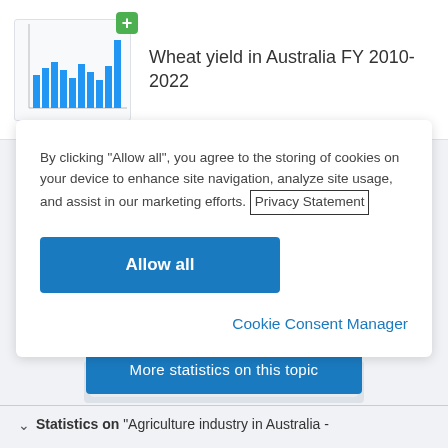[Figure (bar-chart): Small thumbnail bar chart showing wheat yield data, with a green plus badge in top-right corner]
Wheat yield in Australia FY 2010-2022
By clicking “Allow all”, you agree to the storing of cookies on your device to enhance site navigation, analyze site usage, and assist in our marketing efforts. Privacy Statement
Allow all
Cookie Consent Manager
More statistics on this topic
Statistics on “Agriculture industry in Australia -